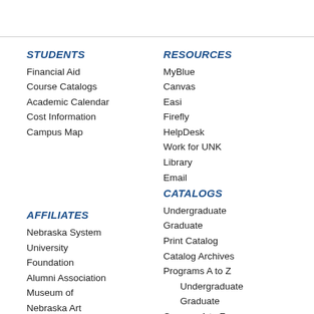STUDENTS
Financial Aid
Course Catalogs
Academic Calendar
Cost Information
Campus Map
RESOURCES
MyBlue
Canvas
Easi
Firefly
HelpDesk
Work for UNK
Library
Email
AFFILIATES
Nebraska System
University
Foundation
Alumni Association
Museum of
Nebraska Art
Safety Center
HelpDesk
CATALOGS
Undergraduate
Graduate
Print Catalog
Catalog Archives
Programs A to Z
Undergraduate
Graduate
Courses A to Z